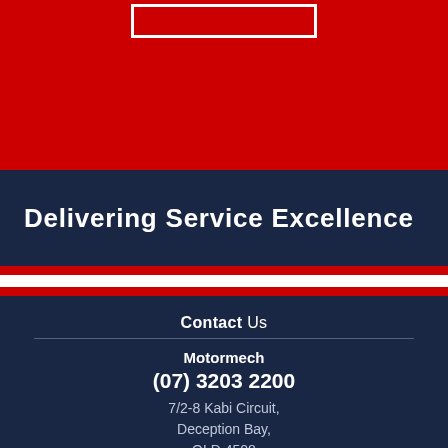[Figure (logo): Logo placeholder box (white rectangle outline) on red background]
Delivering Service Excellence
Contact Us
Motormech
(07) 3203 2200
7/2-8 Kabi Circuit,
Deception Bay,
QLD 4508
admin@eqmsol.com.au